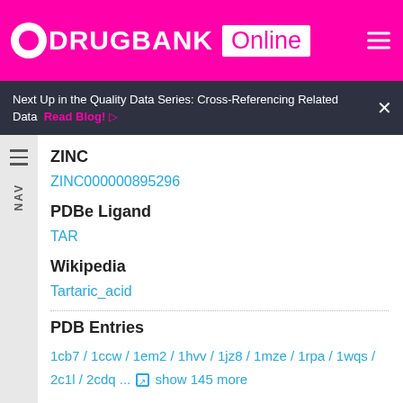DRUGBANK Online
Next Up in the Quality Data Series: Cross-Referencing Related Data  Read Blog!
ZINC
ZINC000000895296
PDBe Ligand
TAR
Wikipedia
Tartaric_acid
PDB Entries
1cb7 / 1ccw / 1em2 / 1hvv / 1jz8 / 1mze / 1rpa / 1wqs / 2c1l / 2cdq ... show 145 more